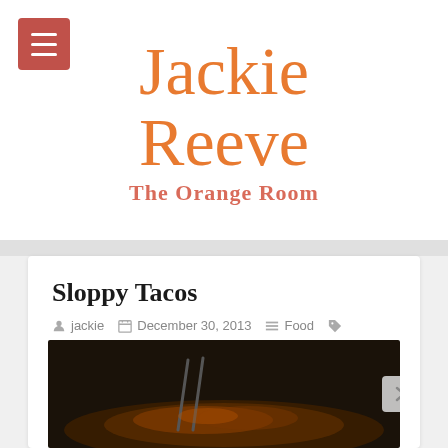[Figure (logo): Jackie Reeve The Orange Room blog logo with orange script lettering and subtitle]
Sloppy Tacos
jackie  December 30, 2013  Food  recipes
[Figure (photo): Food photo of sloppy tacos in a dark pan]